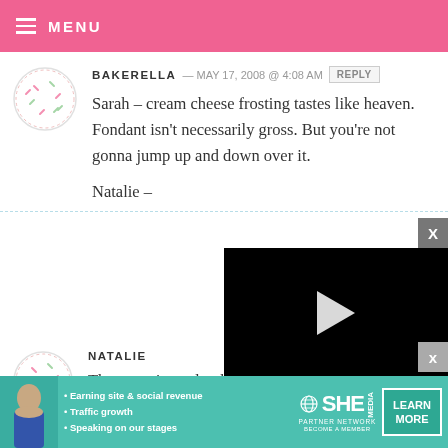MENU
BAKERELLA — MAY 17, 2008 @ 4:08 AM   REPLY
Sarah – cream cheese frosting tastes like heaven. Fondant isn't necessarily gross. But you're not gonna jump up and down over it.

Natalie –
[Figure (screenshot): A video player overlay with black background, play button, progress bar at 13:52, and controls including mute, CC, grid, settings, and fullscreen buttons]
NATALIE
These are just adorable! How
[Figure (infographic): SHE Partner Network advertisement banner with teal background, woman photo, bullet points: Earning site & social revenue, Traffic growth, Speaking on our stages, SHE logo, PARTNER NETWORK, BECOME A MEMBER, LEARN MORE button]